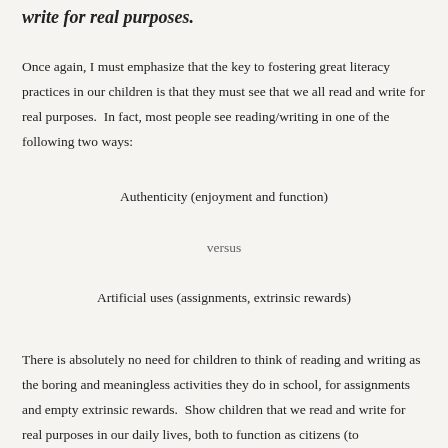write for real purposes.
Once again, I must emphasize that the key to fostering great literacy practices in our children is that they must see that we all read and write for real purposes.  In fact, most people see reading/writing in one of the following two ways:
Authenticity (enjoyment and function)
versus
Artificial uses (assignments, extrinsic rewards)
There is absolutely no need for children to think of reading and writing as the boring and meaningless activities they do in school, for assignments and empty extrinsic rewards.  Show children that we read and write for real purposes in our daily lives, both to function as citizens (to balance/write